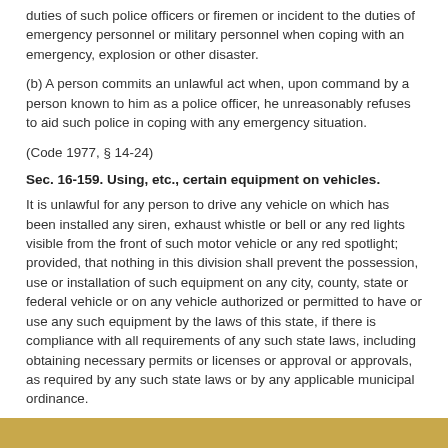duties of such police officers or firemen or incident to the duties of emergency personnel or military personnel when coping with an emergency, explosion or other disaster.
(b) A person commits an unlawful act when, upon command by a person known to him as a police officer, he unreasonably refuses to aid such police in coping with any emergency situation.
(Code 1977, § 14-24)
Sec. 16-159. Using, etc., certain equipment on vehicles.
It is unlawful for any person to drive any vehicle on which has been installed any siren, exhaust whistle or bell or any red lights visible from the front of such motor vehicle or any red spotlight; provided, that nothing in this division shall prevent the possession, use or installation of such equipment on any city, county, state or federal vehicle or on any vehicle authorized or permitted to have or use any such equipment by the laws of this state, if there is compliance with all requirements of any such state laws, including obtaining necessary permits or licenses or approval or approvals, as required by any such state laws or by any applicable municipal ordinance.
(Code 1977, § 14-25)